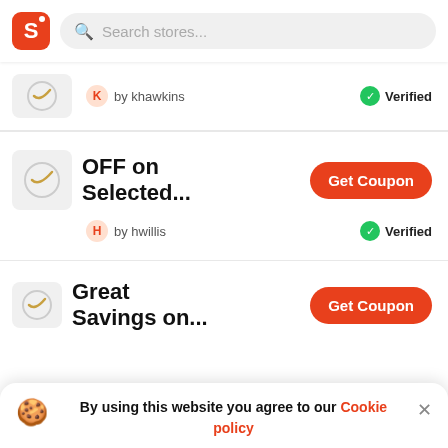S | Search stores...
by khawkins
Verified
OFF on Selected...
Get Coupon
by hwillis
Verified
Great Savings on...
Get Coupon
By using this website you agree to our Cookie policy